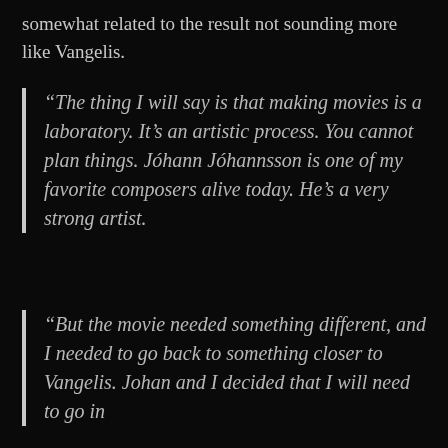somewhat related to the result not sounding more like Vangelis.
“The thing I will say is that making movies is a laboratory. It’s an artistic process. You cannot plan things. Jóhann Jóhannsson is one of my favorite composers alive today. He’s a very strong artist.
“But the movie needed something different, and I needed to go back to something closer to Vangelis. Johan and I decided that I will need to go in